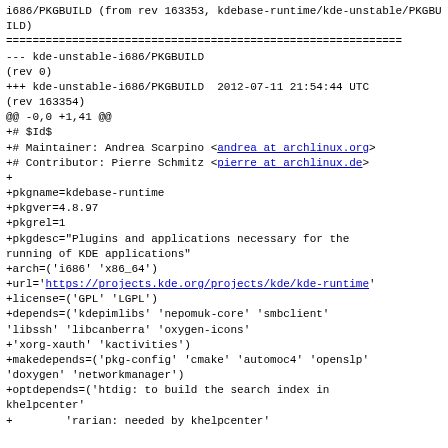i686/PKGBUILD (from rev 163353, kdebase-runtime/kde-unstable/PKGBUILD)
============================================================
--- kde-unstable-i686/PKGBUILD
(rev 0)
+++ kde-unstable-i686/PKGBUILD  2012-07-11 21:54:44 UTC
(rev 163354)
@@ -0,0 +1,41 @@
+# $Id$
+# Maintainer: Andrea Scarpino <andrea at archlinux.org>
+# Contributor: Pierre Schmitz <pierre at archlinux.de>
+
+pkgname=kdebase-runtime
+pkgver=4.8.97
+pkgrel=1
+pkgdesc="Plugins and applications necessary for the running of KDE applications"
+arch=('i686' 'x86_64')
+url='https://projects.kde.org/projects/kde/kde-runtime'
+license=('GPL' 'LGPL')
+depends=('kdepimlibs' 'nepomuk-core' 'smbclient' 'libssh' 'libcanberra' 'oxygen-icons'
+'xorg-xauth' 'kactivities')
+makedepends=('pkg-config' 'cmake' 'automoc4' 'openslp' 'doxygen' 'networkmanager')
+optdepends=('htdig: to build the search index in khelpcenter'
+        'rarian: needed by khelpcenter'